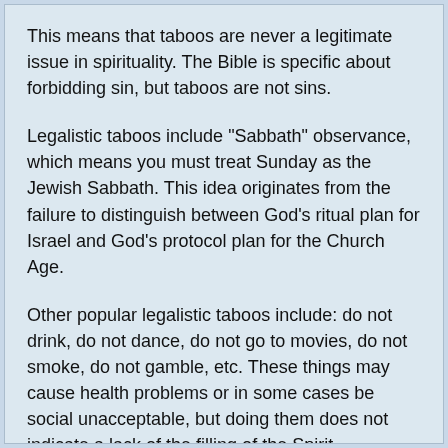This means that taboos are never a legitimate issue in spirituality. The Bible is specific about forbidding sin, but taboos are not sins.
Legalistic taboos include "Sabbath" observance, which means you must treat Sunday as the Jewish Sabbath. This idea originates from the failure to distinguish between God's ritual plan for Israel and God's protocol plan for the Church Age.
Other popular legalistic taboos include: do not drink, do not dance, do not go to movies, do not smoke, do not gamble, etc. These things may cause health problems or in some cases be social unacceptable, but doing them does not indicate a lack of the filling of the Spirit.
A modern taboo is global warming aka global climate change because there is no measurable global warming. As we can determine the global climate...